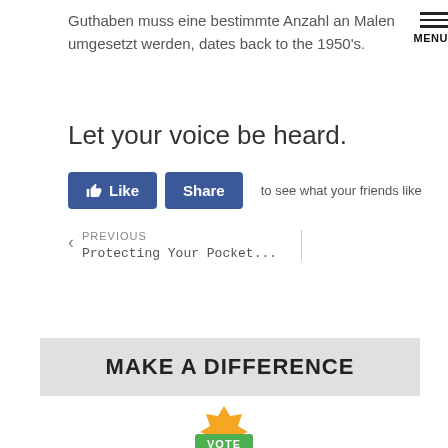Guthaben muss eine bestimmte Anzahl an Malen umgesetzt werden, dates back to the 1950's.
MENU
Let your voice be heard.
[Figure (infographic): Facebook Like and Share buttons with text 'to see what your friends like']
PREVIOUS Protecting Your Pocket...
MAKE A DIFFERENCE
[Figure (illustration): Vote badge with orange star shape and green banner reading VOTE]